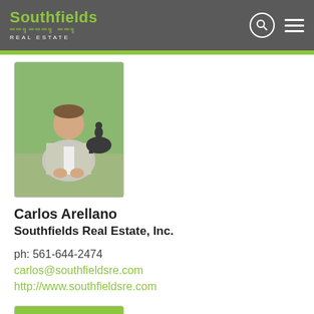Southfields REAL ESTATE
[Figure (photo): Photo of Carlos Arellano, a man in a light jacket standing outdoors with horses in the background]
Carlos Arellano
Southfields Real Estate, Inc.
ph: 561-644-2474
carlos@southfieldsre.com
http://www.southfieldsre.com
[Figure (logo): Southfields Real Estate logo on green background]
Diego Arellano
Southfields Real Estate, Inc.